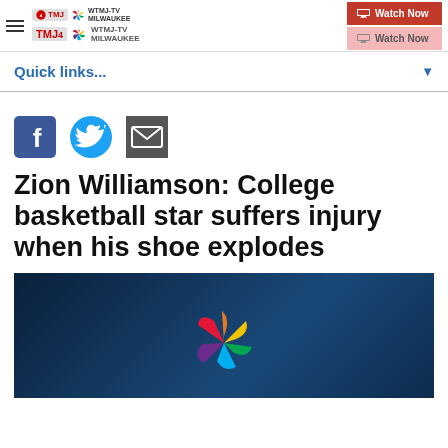WTMJ-TV MILWAUKEE — Watch Now
Quick links...
[Figure (other): Social sharing icons: Facebook, Twitter, Email]
Zion Williamson: College basketball star suffers injury when his shoe explodes
[Figure (screenshot): Dark blue video thumbnail with NBC peacock logo and a white progress bar at the bottom]